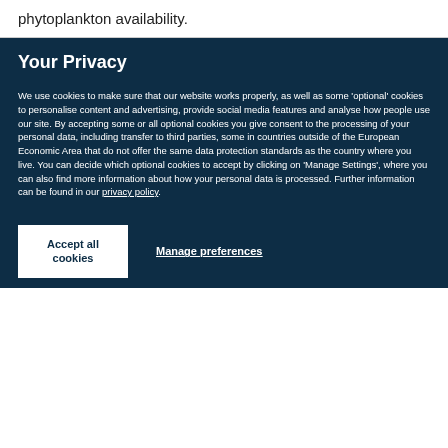phytoplankton availability.
Your Privacy
We use cookies to make sure that our website works properly, as well as some 'optional' cookies to personalise content and advertising, provide social media features and analyse how people use our site. By accepting some or all optional cookies you give consent to the processing of your personal data, including transfer to third parties, some in countries outside of the European Economic Area that do not offer the same data protection standards as the country where you live. You can decide which optional cookies to accept by clicking on 'Manage Settings', where you can also find more information about how your personal data is processed. Further information can be found in our privacy policy.
Accept all cookies
Manage preferences